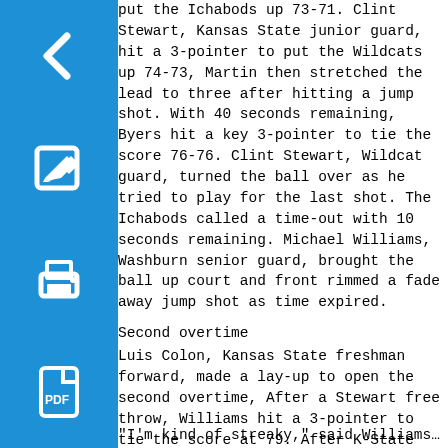put the Ichabods up 73-71. Clint Stewart, Kansas State junior guard, hit a 3-pointer to put the Wildcats up 74-73, Martin then stretched the lead to three after hitting a jump shot. With 40 seconds remaining, Byers hit a key 3-pointer to tie the score 76-76. Clint Stewart, Wildcat guard, turned the ball over as he tried to play for the last shot. The Ichabods called a time-out with 10 seconds remaining. Michael Williams, Washburn senior guard, brought the ball up court and front rimmed a fade away jump shot as time expired.
Second overtime
Luis Colon, Kansas State freshman forward, made a lay-up to open the second overtime, After a Stewart free throw, Williams hit a 3-pointer to tie the score at 79. After K-State regained the lead, Williams hit another 3-pointer to put Washburn up 82-81. The Wildcats then went on a 4-0 run to take an 85-82 lead with less than one minute remaining. Williams then hit his third 3-pointer of the overtime to tie the score 85-85 with 43.5 seconds remaining. The Ichabods forced a jump ball and regained possession with .18 seconds remaining. With time winding down, Meile missed a wide open 12-foot jump shot.
"I'm kind of streaky," said Williams. "After I hit the first 3...